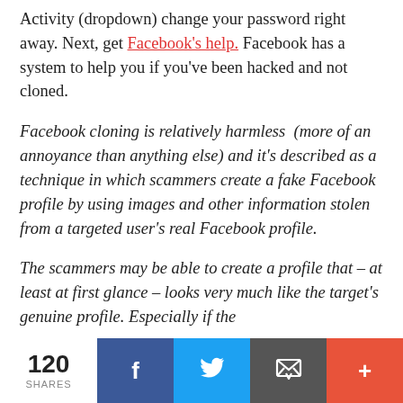Activity (dropdown) change your password right away. Next, get Facebook's help. Facebook has a system to help you if you've been hacked and not cloned.
Facebook cloning is relatively harmless (more of an annoyance than anything else) and it's described as a technique in which scammers create a fake Facebook profile by using images and other information stolen from a targeted user's real Facebook profile.
The scammers may be able to create a profile that – at least at first glance – looks very much like the target's genuine profile. Especially if the
120 SHARES | Facebook | Twitter | Email | More